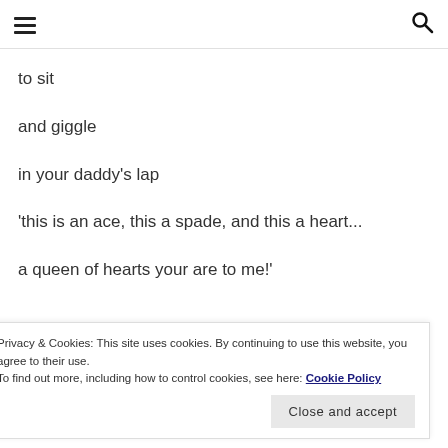≡  🔍
to sit
and giggle
in your daddy's lap
'this is an ace, this a spade, and this a heart...
a queen of hearts your are to me!'
Privacy & Cookies: This site uses cookies. By continuing to use this website, you agree to their use.
To find out more, including how to control cookies, see here: Cookie Policy
Close and accept